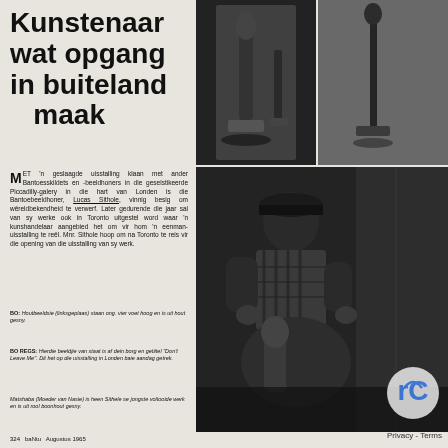Kunstenaar wat opgang in buiteland maak
[Figure (photo): Black and white photo of two abstract Bantu sculptures, elongated figures on bases]
[Figure (photo): Black and white photo of a sculptured figure in background]
[Figure (photo): Black and white photo of Lucas Sithole working on a sculpture]
MET 'n geslaagde uisstalling Klaan met ander Bantoesskildets en -beeldhoners in die geselstikeerde Piccadilly-galery in die hart van Londen is die Bantoebeeldhoner, Lucas Sithole, vinnig besig om wêreldbekendheid te verwerf. Later gedurende die jaar sal van sy werke ook in Toronto uitgestel word waar 'n kunshandelaar aangebied het om vir hom 'n eenman-uisstalling te reël. Mnr. Sithole hoop om na Toronto te reis vir die opening van die uisstalling van sy werk.
BO: Houtbeeldsie (linksgeplaas) staan ong. vier voet hoog en is uit hout gesny.
BO REGS: Hierdie beeldjie van staat is af dein borg en getiitel "Don't Leave Me". Dit het op die uisstalling in Londen baie aandag getrek.
Matshaba (Moeder van Nasie) is heen Sithele se jongste voltooide werk en is uit rool boonhout gesny.
324    baNtu    Augustus 1965